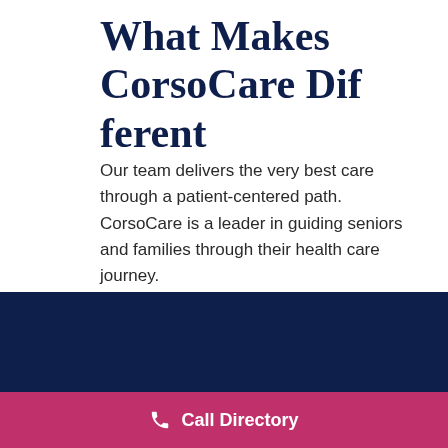What Makes CorsoCare Different
Our team delivers the very best care through a patient-centered path. CorsoCare is a leader in guiding seniors and families through their health care journey.
[Figure (other): Dark navy blue call-to-action button with white bold text reading 'Our Difference']
Call Directory